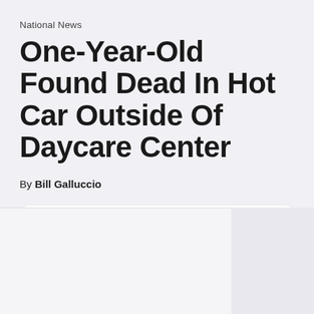National News
One-Year-Old Found Dead In Hot Car Outside Of Daycare Center
By Bill Galluccio
[Figure (screenshot): Radio player widget showing Rick Springfield - 103.1 WNDH - Napoleon's Classic Hits, playing Jessie's Girl, with play button and station logo]
[Figure (photo): Partially visible photo area at the bottom of the page, mostly light gray placeholder]